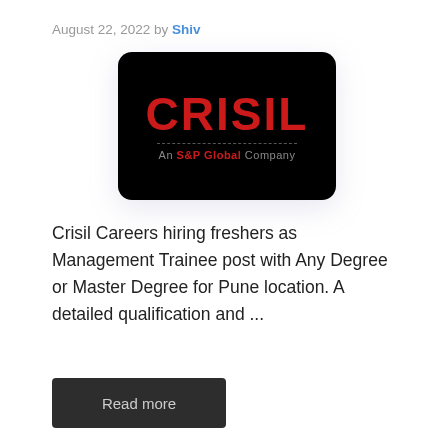August 22, 2022 by Shiv
[Figure (logo): CRISIL logo on black background with tagline 'An S&P Global Company']
Crisil Careers hiring freshers as Management Trainee post with Any Degree or Master Degree for Pune location. A detailed qualification and ...
Read more